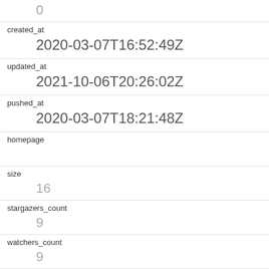|  | 0 |
| created_at | 2020-03-07T16:52:49Z |
| updated_at | 2021-10-06T20:26:02Z |
| pushed_at | 2020-03-07T18:21:48Z |
| homepage |  |
| size | 16 |
| stargazers_count | 9 |
| watchers_count | 9 |
| language | Python |
| has_issues | 1 |
| has_projects | 1 |